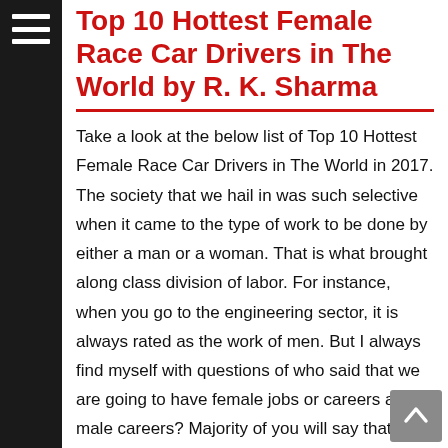Top 10 Hottest Female Race Car Drivers in The World by R. K. Sharma
Take a look at the below list of Top 10 Hottest Female Race Car Drivers in The World in 2017. The society that we hail in was such selective when it came to the type of work to be done by either a man or a woman. That is what brought along class division of labor. For instance, when you go to the engineering sector, it is always rated as the work of men. But I always find myself with questions of who said that we are going to have female jobs or careers and male careers? Majority of you will say that it is even written in the bible that way. I can say that that is just misinterpretation of the scriptures. Women will